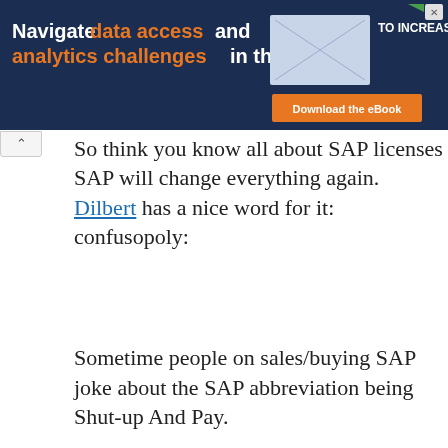[Figure (screenshot): Advertisement banner with dark navy background. Text reads 'Navigate data access and analytics challenges in the cloud' with 'data access' and 'analytics challenges' in orange. Right side shows a book image and orange 'Download the eBook' button. 'TO INCREASE' text visible top right.]
So think you know all about SAP licenses, SAP will change everything again. Dilbert has a nice word for it: confusopoly:
Sometime people on sales/buying SAP joke about the SAP abbreviation being Shut-up And Pay.